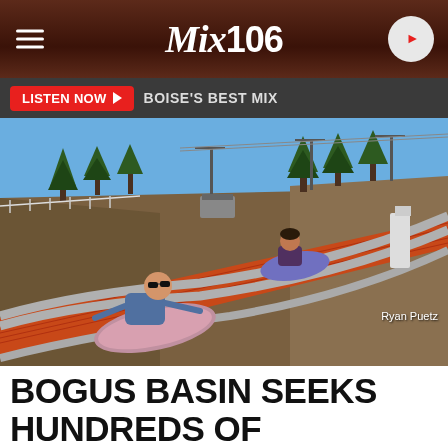Mix106
LISTEN NOW  BOISE'S BEST MIX
[Figure (photo): Children sliding down an outdoor tubing/alpine slide at Bogus Basin mountain resort in summer. Ski lifts visible in background. Photo credit: Ryan Puetz]
Ryan Puetz
BOGUS BASIN SEEKS HUNDREDS OF EMPLOYEES FOR SUMMER